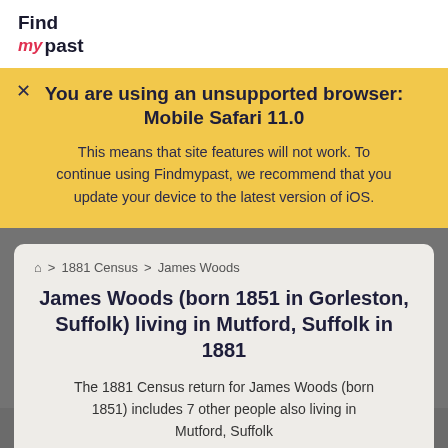Find my past
You are using an unsupported browser: Mobile Safari 11.0

This means that site features will not work. To continue using Findmypast, we recommend that you update your device to the latest version of iOS.
⌂ > 1881 Census > James Woods
James Woods (born 1851 in Gorleston, Suffolk) living in Mutford, Suffolk in 1881
The 1881 Census return for James Woods (born 1851) includes 7 other people also living in Mutford, Suffolk